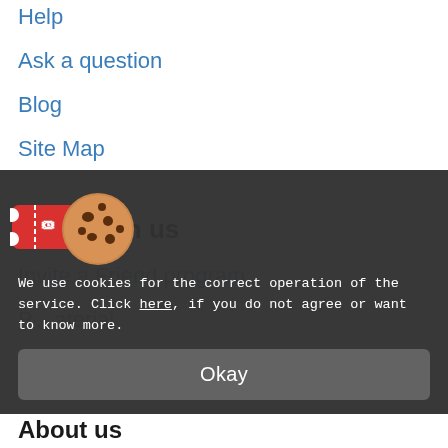Help
Ask a question
Blog
Site Map
Work with us
Invite a Friend program
... aterial
[Figure (illustration): Cookie emoji image showing a red card/tickets and cookie emoji overlapping]
We use cookies for the correct operation of the service. Click here, if you do not agree or want to know more.
Okay
About us